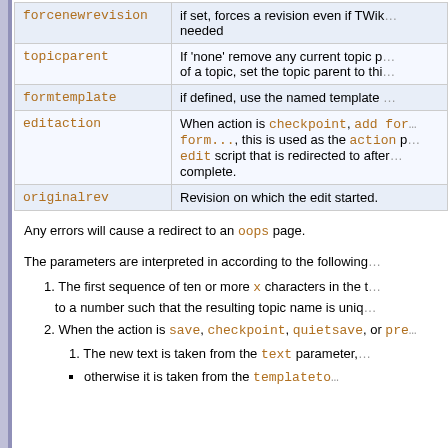| Parameter | Description |
| --- | --- |
| forcenewrevision | if set, forces a revision even if TWiki thinks one is not needed |
| topicparent | If 'none' remove any current topic parent, if set to the name of a topic, set the topic parent to this topic |
| formtemplate | if defined, use the named template to define the form |
| editaction | When action is checkpoint, add form, or replace form..., this is used as the action parameter to the edit script that is redirected to after the save is complete. |
| originalrev | Revision on which the edit started. |
Any errors will cause a redirect to an oops page.
The parameters are interpreted in according to the following rules:
1. The first sequence of ten or more x characters in the text is replaced to a number such that the resulting topic name is unique in the target web.
2. When the action is save, checkpoint, quietsave, or preview:
1. The new text is taken from the text parameter,
otherwise it is taken from the templatetopic